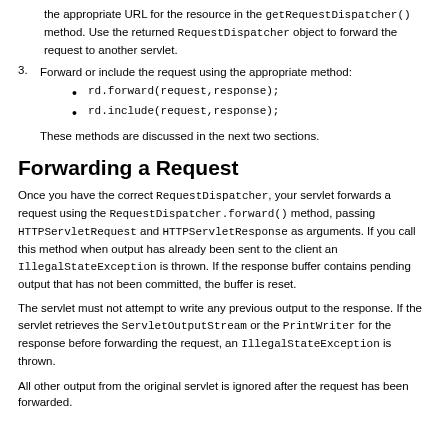the appropriate URL for the resource in the getRequestDispatcher() method. Use the returned RequestDispatcher object to forward the request to another servlet.
3. Forward or include the request using the appropriate method:
rd.forward(request,response);
rd.include(request,response);
These methods are discussed in the next two sections.
Forwarding a Request
Once you have the correct RequestDispatcher, your servlet forwards a request using the RequestDispatcher.forward() method, passing HTTPServletRequest and HTTPServletResponse as arguments. If you call this method when output has already been sent to the client an IllegalStateException is thrown. If the response buffer contains pending output that has not been committed, the buffer is reset.
The servlet must not attempt to write any previous output to the response. If the servlet retrieves the ServletOutputStream or the PrintWriter for the response before forwarding the request, an IllegalStateException is thrown.
All other output from the original servlet is ignored after the request has been forwarded.